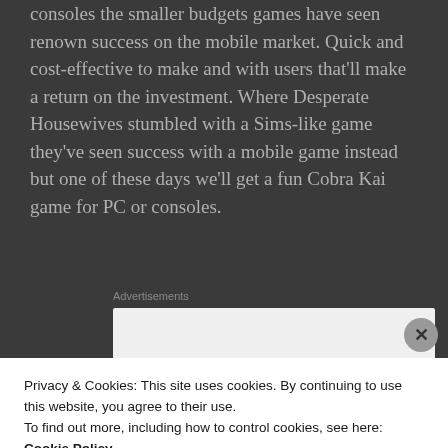consoles the smaller budgets games have seen renown success on the mobile market. Quick and cost-effective to make and with users that'll make a return on the investment. Where Desperate Housewives stumbled with a Sims-like game they've seen success with a mobile game instead but one of these days we'll get a fun Cobra Kai game for PC or consoles.
Advertisements
[Figure (screenshot): Advertisement box with P2 logo and partial headline 'Getting your team on']
Privacy & Cookies: This site uses cookies. By continuing to use this website, you agree to their use.
To find out more, including how to control cookies, see here: Cookie Policy
Close and accept